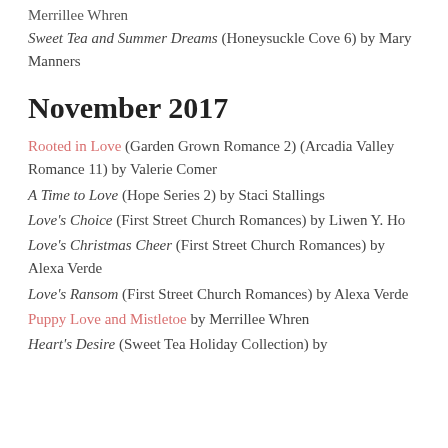Merrillee Whren
Sweet Tea and Summer Dreams (Honeysuckle Cove 6) by Mary Manners
November 2017
Rooted in Love (Garden Grown Romance 2) (Arcadia Valley Romance 11) by Valerie Comer
A Time to Love (Hope Series 2) by Staci Stallings
Love's Choice (First Street Church Romances) by Liwen Y. Ho
Love's Christmas Cheer (First Street Church Romances) by Alexa Verde
Love's Ransom (First Street Church Romances) by Alexa Verde
Puppy Love and Mistletoe by Merrillee Whren
Heart's Desire (Sweet Tea Holiday Collection) by